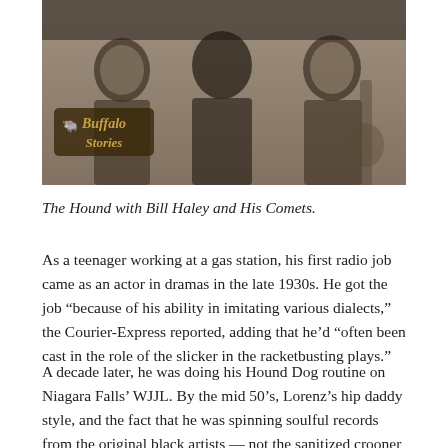[Figure (photo): Sepia-toned black and white photograph of a group of men, likely The Hound with Bill Haley and His Comets, with a 'Buffalo Stories' logo overlay in the lower left corner of the image.]
The Hound with Bill Haley and His Comets.
As a teenager working at a gas station, his first radio job came as an actor in dramas in the late 1930s. He got the job “because of his ability in imitating various dialects,” the Courier-Express reported, adding that he’d “often been cast in the role of the slicker in the racketbusting plays.”
A decade later, he was doing his Hound Dog routine on Niagara Falls’ WJJL. By the mid 50’s, Lorenz’s hip daddy style, and the fact that he was spinning soulful records from the original black artists — not the sanitized crooner re-sings heard elsewhere on